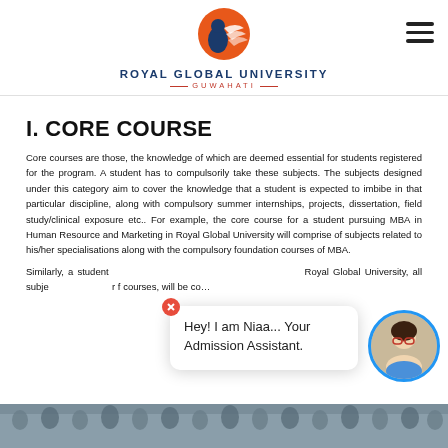Royal Global University Guwahati
I. CORE COURSE
Core courses are those, the knowledge of which are deemed essential for students registered for the program. A student has to compulsorily take these subjects. The subjects designed under this category aim to cover the knowledge that a student is expected to imbibe in that particular discipline, along with compulsory summer internships, projects, dissertation, field study/clinical exposure etc.. For example, the core course for a student pursuing MBA in Human Resource and Marketing in Royal Global University will comprise of subjects related to his/her specialisations along with the compulsory foundation courses of MBA.
Similarly, a student... Royal Global University, all subje... r f courses, will be co...
[Figure (photo): Group photo of students at the bottom of the page]
Hey! I am Niaa... Your Admission Assistant.